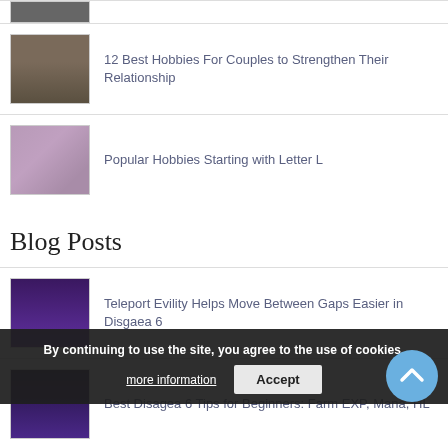[Figure (photo): Partial thumbnail of article at top of page]
12 Best Hobbies For Couples to Strengthen Their Relationship
Popular Hobbies Starting with Letter L
Blog Posts
Teleport Evility Helps Move Between Gaps Easier in Disgaea 6
Best Disagea 6 Tips for Beginners: Farm EXP, Mana, HL
By continuing to use the site, you agree to the use of cookies.
more information
Accept
What are Anime Fans Called?